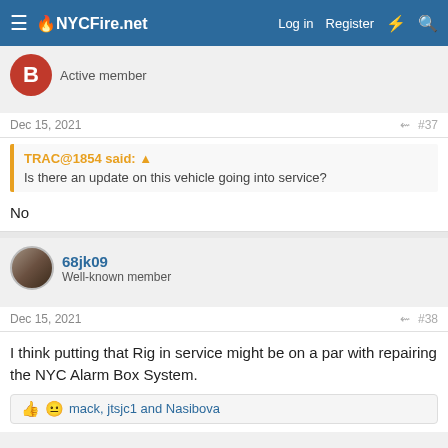NYCFire.net — Log in  Register
Active member
Dec 15, 2021   #37
TRAC@1854 said: ⬆
Is there an update on this vehicle going into service?
No
68jk09
Well-known member
Dec 15, 2021   #38
I think putting that Rig in service might be on a par with repairing the NYC Alarm Box System.
mack, jtsjc1 and Nasibova